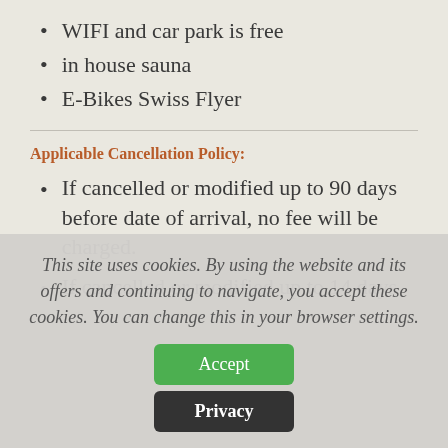WIFI and car park is free
in house sauna
E-Bikes Swiss Flyer
Applicable Cancellation Policy:
If cancelled or modified up to 90 days before date of arrival, no fee will be charged.
If cancelled or modified up to 14 days
This site uses cookies. By using the website and its offers and continuing to navigate, you accept these cookies. You can change this in your browser settings.
Accept
Privacy